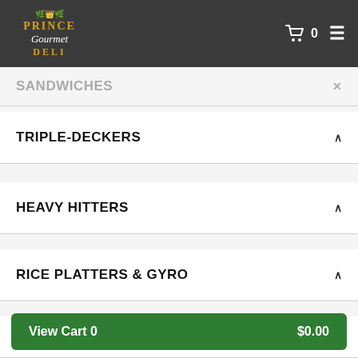Prince Gourmet Deli – navigation header with cart (0) and menu icon
SANDWICHES
TRIPLE-DECKERS
HEAVY HITTERS
RICE PLATTERS & GYRO
HOT SANDWICHES
View Cart 0   $0.00